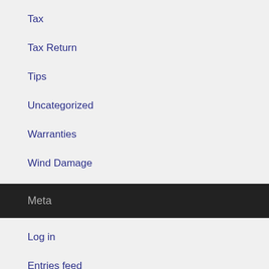Tax
Tax Return
Tips
Uncategorized
Warranties
Wind Damage
Meta
Log in
Entries feed